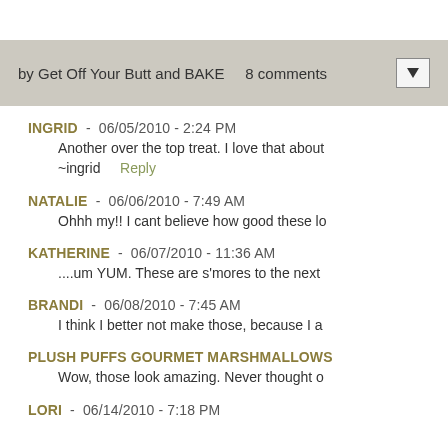by Get Off Your Butt and BAKE    8 comments
INGRID  -  06/05/2010 - 2:24 PM
Another over the top treat. I love that about ~ingrid   Reply
NATALIE  -  06/06/2010 - 7:49 AM
Ohhh my!! I cant believe how good these lo
KATHERINE  -  06/07/2010 - 11:36 AM
....um YUM. These are s'mores to the next
BRANDI  -  06/08/2010 - 7:45 AM
I think I better not make those, because I a
PLUSH PUFFS GOURMET MARSHMALLOWS
Wow, those look amazing. Never thought o
LORI  -  06/14/2010 - 7:18 PM